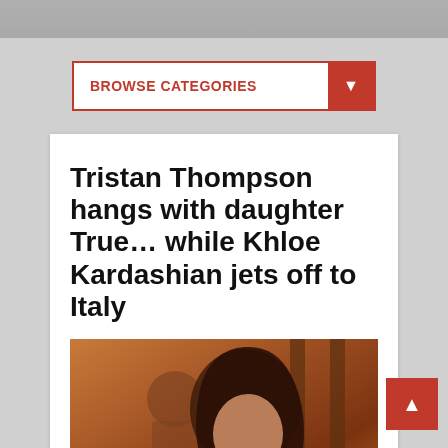BROWSE CATEGORIES
Tristan Thompson hangs with daughter True… while Khloe Kardashian jets off to Italy
[Figure (photo): Photo of a woman with long dark hair drinking from a cup, with a blurred figure in the background, warm orange/brown tones]